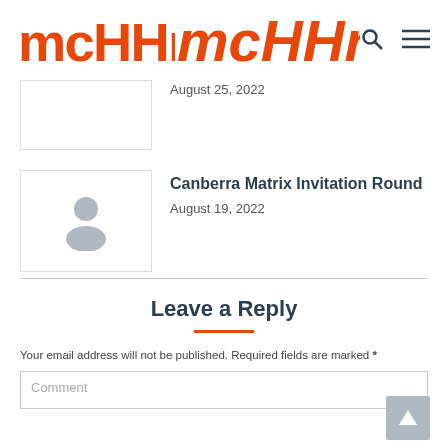McHHr's [logo]
August 25, 2022
Canberra Matrix Invitation Round
August 19, 2022
Leave a Reply
Your email address will not be published. Required fields are marked *
Comment